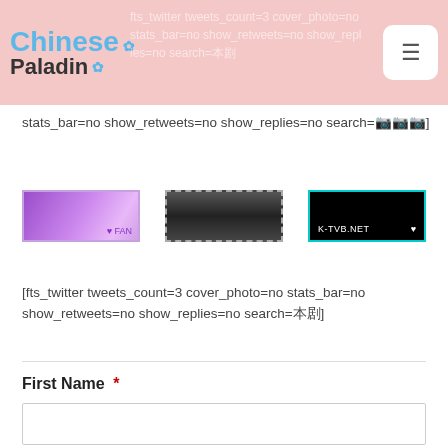Chinese Paladin
stats_bar=no show_retweets=no show_replies=no search=️️‍️‍]
[Figure (screenshot): Three banner images in a row: a purple fan banner, a dark gradient banner, and a black K-TVB.NET banner with teal border]
[fts_twitter tweets_count=3 cover_photo=no stats_bar=no show_retweets=no show_replies=no search=本剧]
First Name *
[Figure (screenshot): Text input field for First Name]